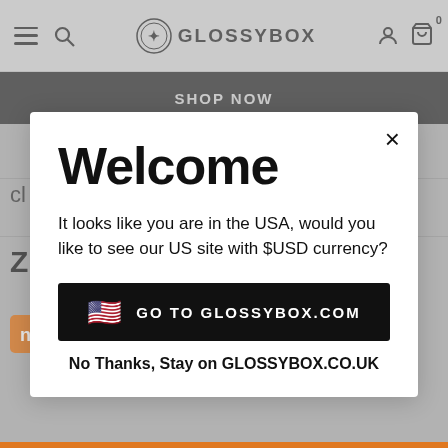[Figure (screenshot): GLOSSYBOX website navigation bar with hamburger menu, search icon, GLOSSYBOX logo, user icon, and cart icon showing 0 items]
SHOP NOW
Welcome
It looks like you are in the USA, would you like to see our US site with $USD currency?
GO TO GLOSSYBOX.COM
No Thanks, Stay on GLOSSYBOX.CO.UK